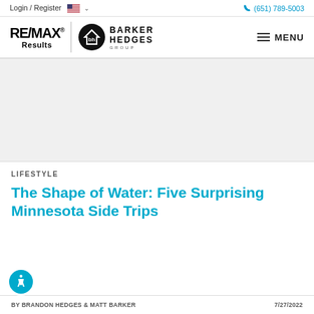Login / Register  🇺🇸  ∨   (651) 789-5003
[Figure (logo): RE/MAX Results logo with Barker Hedges Group logo and MENU button in navigation bar]
[Figure (other): Gray advertisement/image placeholder area]
LIFESTYLE
The Shape of Water: Five Surprising Minnesota Side Trips
BY BRANDON HEDGES & MATT BARKER   7/27/2022